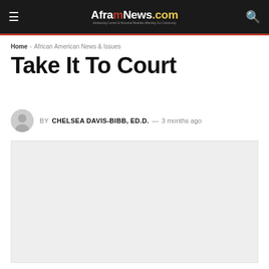AfamNews.com — African American News & Issues
Home › African American News & Issues
Take It To Court
BY CHELSEA DAVIS-BIBB, ED.D. — 3 months ago
[Figure (photo): Article featured image placeholder (light gray rectangle)]